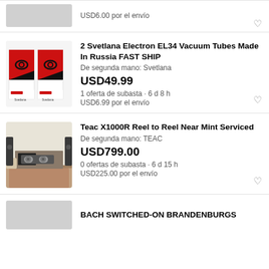USD6.00 por el envío
[Figure (photo): Partial top listing product image (blurred/placeholder)]
[Figure (photo): 2 Svetlana Electron EL34 vacuum tubes in red and white boxes]
2 Svetlana Electron EL34 Vacuum Tubes Made In Russia FAST SHIP
De segunda mano: Svetlana
USD49.99
1 oferta de subasta · 6 d 8 h
USD6.99 por el envío
[Figure (photo): Teac X1000R reel to reel tape recorder in a living room setting]
Teac X1000R Reel to Reel Near Mint Serviced
De segunda mano: TEAC
USD799.00
0 ofertas de subasta · 6 d 15 h
USD225.00 por el envío
BACH SWITCHED-ON BRANDENBURGS